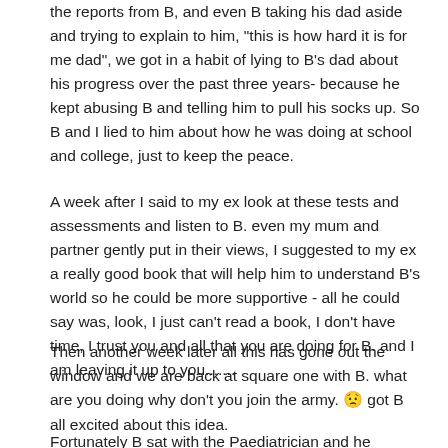the reports from B, and even B taking his dad aside and trying to explain to him, "this is how hard it is for me dad", we got in a habit of lying to B's dad about his progress over the past three years- because he kept abusing B and telling him to pull his socks up. So B and I lied to him about how he was doing at school and college, just to keep the peace.
A week after I said to my ex look at these tests and assessments and listen to B. even my mum and partner gently put in their views, I suggested to my ex a really good book that will help him to understand B's world so he could be more supportive - all he could say was, look, I just can't read a book, I don't have time, I trust you and all that you are doing for B. and I am leaving it up to you.......
Then another week later all this has gone out the window and we are back at square one with B. what are you doing why don't you join the army. 😟 got B all excited about this idea.
Fortunately B sat with the Paediatrician and he advised that this wasn't